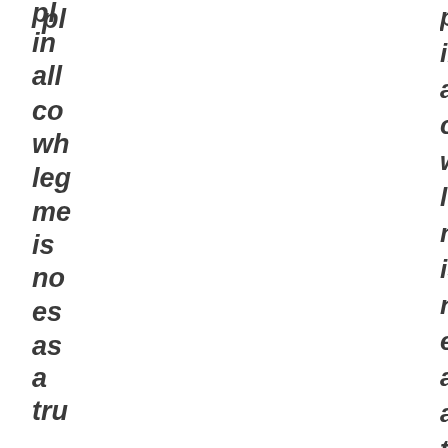pl
in
all
co
wh
leg
me
is
no
es
as
a
tru
'm
me
rea
eve
ha